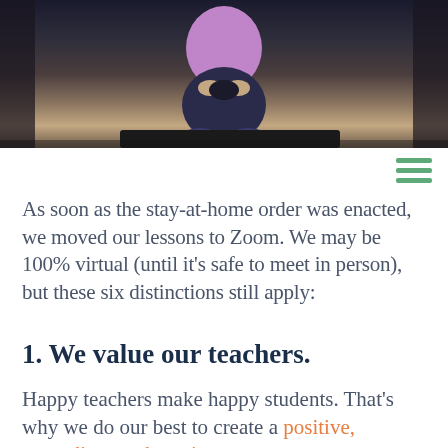[Figure (photo): A person in a purple top crouching or sitting, photographed against a dark background. Only the lower half/torso area is visible, cropped at the top of the page.]
As soon as the stay-at-home order was enacted, we moved our lessons to Zoom. We may be 100% virtual (until it's safe to meet in person), but these six distinctions still apply:
1. We value our teachers.
Happy teachers make happy students. That's why we do our best to create a positive, rewarding work environment